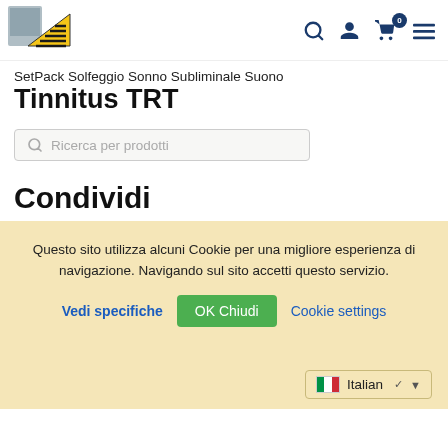[Figure (logo): Website logo with pyramid/triangle shape and horizontal lines]
SetPack Solfeggio Sonno Subliminale Suono Tinnitus TRT
Ricerca per prodotti
Condividi
Questo sito utilizza alcuni Cookie per una migliore esperienza di navigazione. Navigando sul sito accetti questo servizio.
Vedi specifiche  OK Chiudi  Cookie settings
Italian